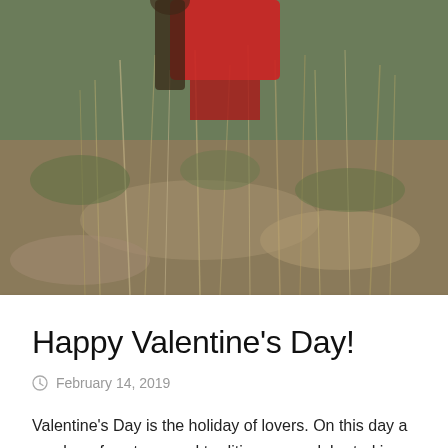[Figure (photo): Outdoor nature scene with dry grasses and red-clothed figure partially visible at top, with soil and vegetation]
Happy Valentine's Day!
February 14, 2019
Valentine's Day is the holiday of lovers. On this day a number of customs and traditions are celebrated in honor of St. Valentine. The...
[Figure (photo): Outdoor blurred nature scene with bare tree branches and warm beige tones]